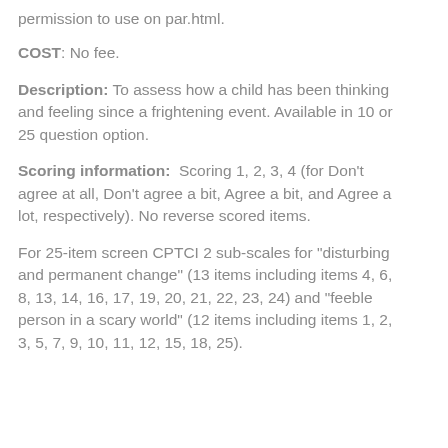permission to use on par.html.
COST: No fee.
Description: To assess how a child has been thinking and feeling since a frightening event. Available in 10 or 25 question option.
Scoring information: Scoring 1, 2, 3, 4 (for Don’t agree at all, Don’t agree a bit, Agree a bit, and Agree a lot, respectively). No reverse scored items.
For 25-item screen CPTCI 2 sub-scales for “disturbing and permanent change” (13 items including items 4, 6, 8, 13, 14, 16, 17, 19, 20, 21, 22, 23, 24) and “feeble person in a scary world” (12 items including items 1, 2, 3, 5, 7, 9, 10, 11, 12, 15, 18, 25).